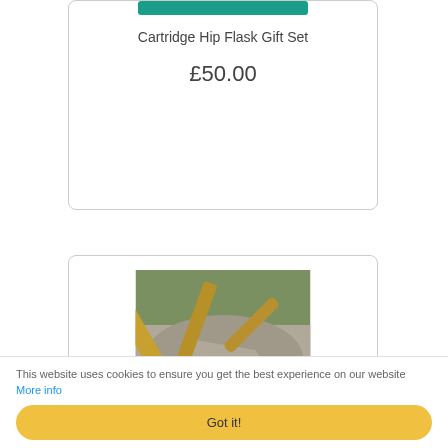Cartridge Hip Flask Gift Set
£50.00
[Figure (photo): Close-up photo of brass shotgun cartridges resting on a stone surface outdoors, with green foliage in background]
This website uses cookies to ensure you get the best experience on our website More info
Got it!